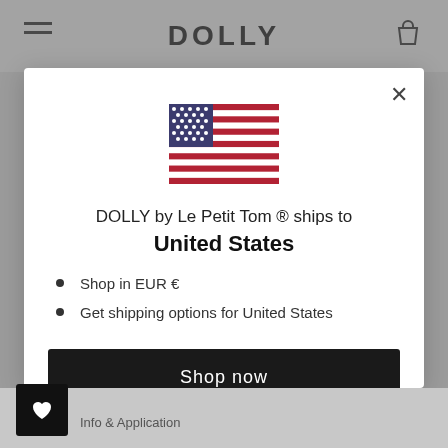DOLLY
[Figure (illustration): US flag emoji/icon]
DOLLY by Le Petit Tom ® ships to United States
Shop in EUR €
Get shipping options for United States
Shop now
Change shipping country
Info & Application